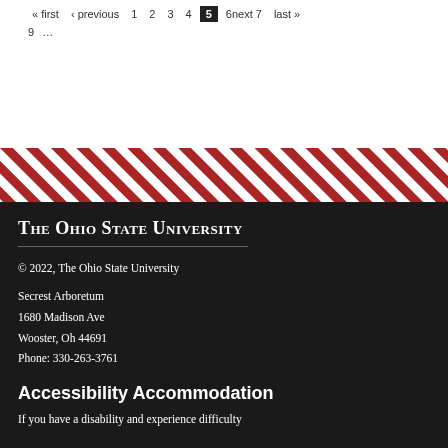« first ‹ previous 1 2 3 4 5 6next 7 last » 9 ...
[Figure (other): Diagonal red and white stripe decorative divider band]
The Ohio State University
© 2022, The Ohio State University
Secrest Arboretum
1680 Madison Ave
Wooster, Oh 44691
Phone: 330-263-3761
Accessibility Accommodation
If you have a disability and experience difficulty